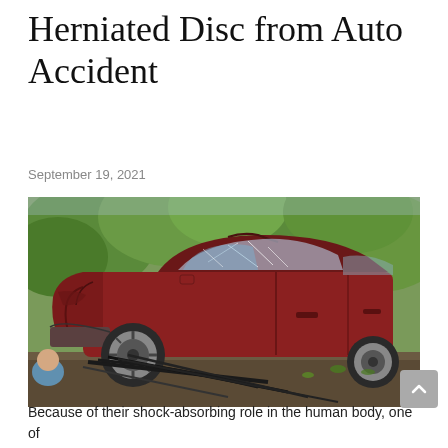Herniated Disc from Auto Accident
September 19, 2021
[Figure (photo): A severely damaged red car with crumpled front end and shattered windows, photographed from the side on what appears to be a flatbed or road surface, with green trees in the background and metal rods scattered nearby.]
Because of their shock-absorbing role in the human body, one of